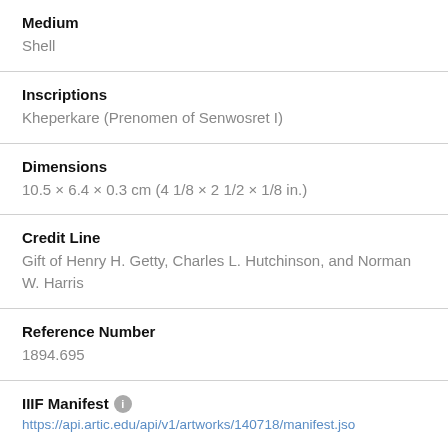Medium
Shell
Inscriptions
Kheperkare (Prenomen of Senwosret I)
Dimensions
10.5 × 6.4 × 0.3 cm (4 1/8 × 2 1/2 × 1/8 in.)
Credit Line
Gift of Henry H. Getty, Charles L. Hutchinson, and Norman W. Harris
Reference Number
1894.695
IIIF Manifest
https://api.artic.edu/api/v1/artworks/140718/manifest.json